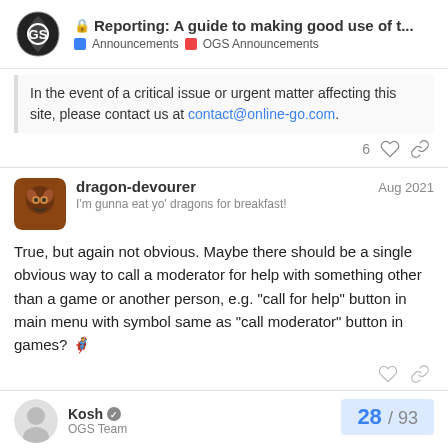Reporting: A guide to making good use of t... | Announcements | OGS Announcements
In the event of a critical issue or urgent matter affecting this site, please contact us at contact@online-go.com.
6 likes, link
dragon-devourer Aug 2021
I'm gunna eat yo' dragons for breakfast!
True, but again not obvious. Maybe there should be a single obvious way to call a moderator for help with something other than a game or another person, e.g. “call for help” button in main menu with symbol same as “call moderator” button in games? 🦸
Kosh
OGS Team
28 / 93